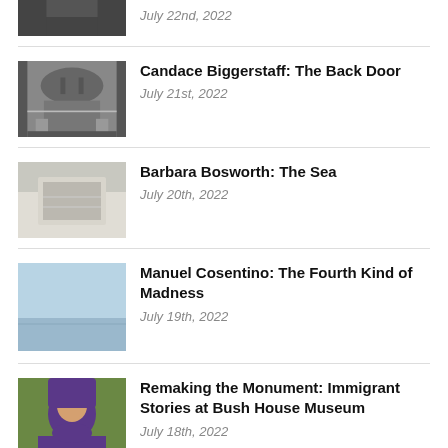[Figure (photo): Partial black and white photo at top, cut off]
July 22nd, 2022
[Figure (photo): Black and white photo of a building with a curved roof structure]
Candace Biggerstaff: The Back Door
July 21st, 2022
[Figure (photo): Photo of sea or water, light tones]
Barbara Bosworth: The Sea
July 20th, 2022
[Figure (photo): Blue sky or hazy landscape photo]
Manuel Cosentino: The Fourth Kind of Madness
July 19th, 2022
[Figure (photo): Woman wearing purple hijab, smiling, outdoor background]
Remaking the Monument: Immigrant Stories at Bush House Museum
July 18th, 2022
[Figure (photo): Building exterior with purple/pink neon lighting at night]
ReRuns: The 2020 Self-Quarantining Exhibition
July 17th, 2022